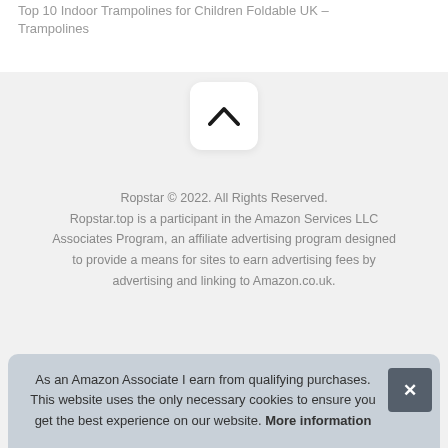Top 10 Indoor Trampolines for Children Foldable UK – Trampolines
[Figure (other): Scroll-to-top button with upward chevron arrow on white rounded square background]
Ropstar © 2022. All Rights Reserved. Ropstar.top is a participant in the Amazon Services LLC Associates Program, an affiliate advertising program designed to provide a means for sites to earn advertising fees by advertising and linking to Amazon.co.uk.
As an Amazon Associate I earn from qualifying purchases. This website uses the only necessary cookies to ensure you get the best experience on our website. More information